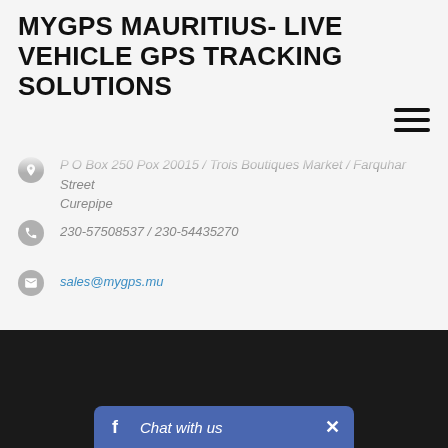MYGPS MAURITIUS- LIVE VEHICLE GPS TRACKING SOLUTIONS
P O Box 250 Pox 20015 / Trois Boutiques Market / Farquhar Street Curepipe
230-57508537 / 230-54435270
sales@mygps.mu
[Figure (screenshot): Facebook Chat with us bar at the bottom of the page]